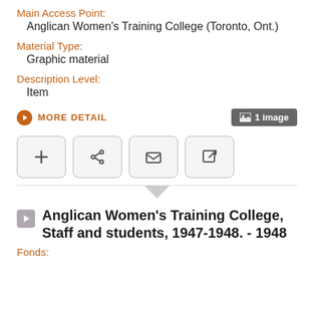Main Access Point:
Anglican Women's Training College (Toronto, Ont.)
Material Type:
Graphic material
Description Level:
Item
MORE DETAIL
1 image
Anglican Women's Training College, Staff and students, 1947-1948. - 1948
Fonds: